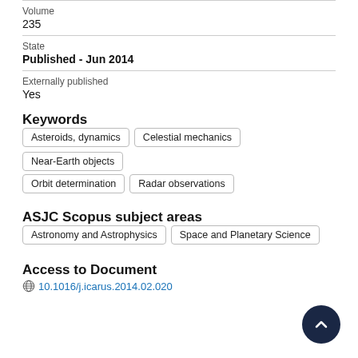Volume
235
State
Published - Jun 2014
Externally published
Yes
Keywords
Asteroids, dynamics
Celestial mechanics
Near-Earth objects
Orbit determination
Radar observations
ASJC Scopus subject areas
Astronomy and Astrophysics
Space and Planetary Science
Access to Document
10.1016/j.icarus.2014.02.020